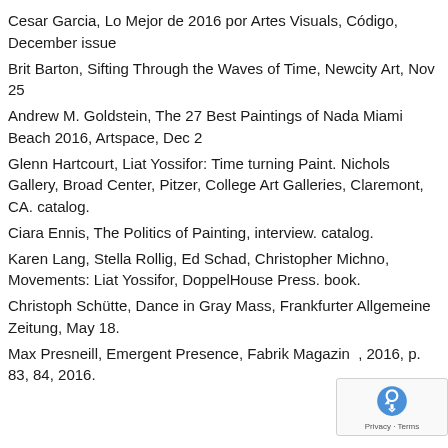Cesar Garcia, Lo Mejor de 2016 por Artes Visuals, Código, December issue
Brit Barton, Sifting Through the Waves of Time, Newcity Art, Nov 25
Andrew M. Goldstein, The 27 Best Paintings of Nada Miami Beach 2016, Artspace, Dec 2
Glenn Hartcourt, Liat Yossifor: Time turning Paint. Nichols Gallery, Broad Center, Pitzer, College Art Galleries, Claremont, CA. catalog.
Ciara Ennis, The Politics of Painting, interview. catalog.
Karen Lang, Stella Rollig, Ed Schad, Christopher Michno, Movements: Liat Yossifor, DoppelHouse Press. book.
Christoph Schütte, Dance in Gray Mass, Frankfurter Allgemeine Zeitung, May 18.
Max Presneill, Emergent Presence, Fabrik Magazine, 2016, p. 83, 84, 2016.